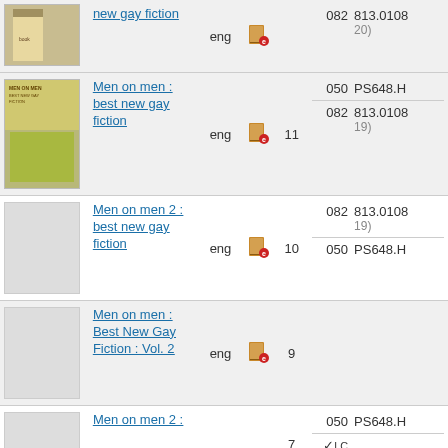| thumbnail | title | lang | icon | count | classification |
| --- | --- | --- | --- | --- | --- |
| [book cover] | new gay fiction | eng | [icon] | 11 | 082 / 813.0108 20)
050 / PS648.H... |
| [Men on Men cover] | Men on men : best new gay fiction | eng | [icon] | 11 | 050 / PS648.H...
082 / 813.0108 19) |
| [blank] | Men on men 2 : best new gay fiction | eng | [icon] | 10 | 082 / 813.0108 19)
050 / PS648.H... |
| [blank] | Men on men : Best New Gay Fiction : Vol. 2 | eng | [icon] | 9 |  |
| [blank] | Men on men 2 : | eng | [icon] | 7 | 050 / PS648.H...
✓LC |